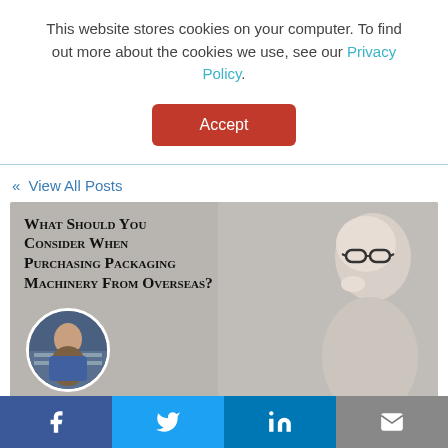This website stores cookies on your computer. To find out more about the cookies we use, see our Privacy Policy.
Accept
« View All Posts
[Figure (photo): Article header image showing text 'What Should You Consider When Purchasing Packaging Machinery From Overseas?' overlaid on a grey background, with a circular author photo (man in warehouse) bottom left, and a photo of a thoughtful older man with glasses on the right.]
By: Nathan Dube on December 15th, 2020
f  t  in  ✉